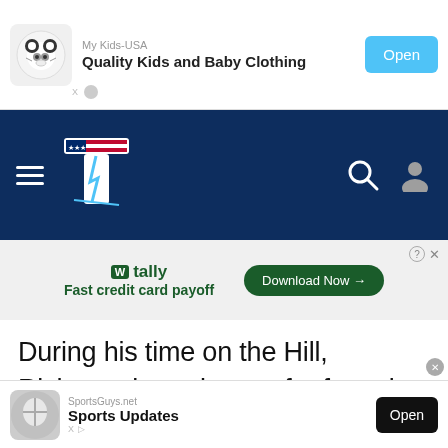[Figure (screenshot): Top advertisement banner for My Kids-USA showing Quality Kids and Baby Clothing with an Open button and a panda icon.]
[Figure (logo): Navigation bar for The Hill website with dark blue background, hamburger menu, logo (letter T with lightning bolt and American flag design), search icon, and user icon.]
[Figure (screenshot): Tally advertisement banner: Fast credit card payoff with Download Now button]
During his time on the Hill, Richmond was known for fostering relationships with both Democrats and Republicans. He worked as one of Biden's top legislative negotiators and aimed to help the
[Figure (screenshot): Bottom advertisement banner for SportsGuys.net showing Sports Updates with an Open button.]